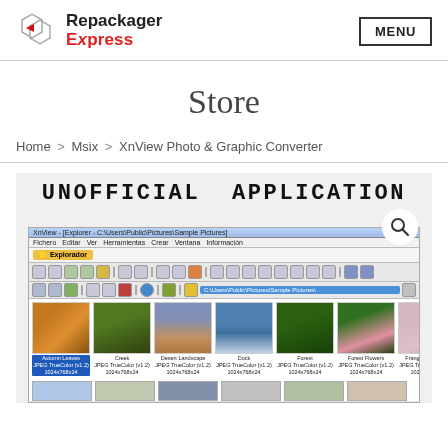[Figure (logo): Repackager Express logo with geometric icon]
MENU
Store
Home > Msix > XnView Photo & Graphic Converter
[Figure (screenshot): Screenshot of XnView Photo & Graphic Converter showing UNOFFICIAL APPLICATION banner and file browser with photo thumbnails including Autumn Leaves, Creek, Desert Landscape, Dock, Forest, Forest Flowers, Frangipani Flow...]